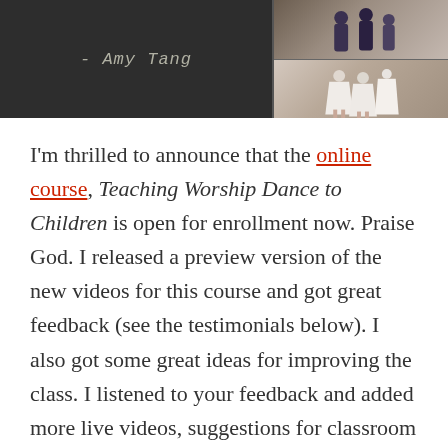[Figure (photo): Top image bar: left portion shows a dark chalkboard with the text '- Amy Tang' written in chalk script; right portion shows two stacked photos of people (children/dancers) in white garments outdoors.]
I'm thrilled to announce that the online course, Teaching Worship Dance to Children is open for enrollment now. Praise God. I released a preview version of the new videos for this course and got great feedback (see the testimonials below). I also got some great ideas for improving the class. I listened to your feedback and added more live videos, suggestions for classroom management, and shared my favorite places to purchase garments for children and patterns as well. So take a look: